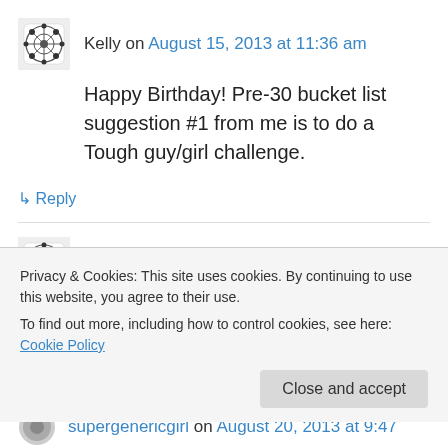Kelly on August 15, 2013 at 11:36 am
Happy Birthday! Pre-30 bucket list suggestion #1 from me is to do a Tough guy/girl challenge.
↳ Reply
Kelly on August 15, 2013 at 11:38 am
Suggestion #2 – Bungy Jump! Thats if you haven't already. Also suggesting it because I'm too scared to do it myself so will push you to do
Privacy & Cookies: This site uses cookies. By continuing to use this website, you agree to their use.
To find out more, including how to control cookies, see here: Cookie Policy
Close and accept
supergenericgirl on August 20, 2013 at 9:47